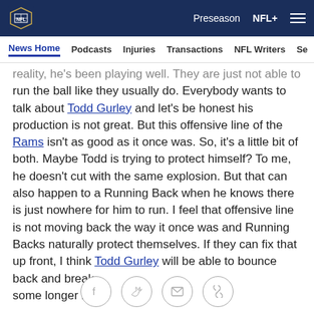NFL | Preseason | NFL+
News Home | Podcasts | Injuries | Transactions | NFL Writers | Se
reality, he's been playing well. They are just not able to run the ball like they usually do. Everybody wants to talk about Todd Gurley and let's be honest his production is not great. But this offensive line of the Rams isn't as good as it once was. So, it's a little bit of both. Maybe Todd is trying to protect himself? To me, he doesn't cut with the same explosion. But that can also happen to a Running Back when he knows there is just nowhere for him to run. I feel that offensive line is not moving back the way it once was and Running Backs naturally protect themselves. If they can fix that up front, I think Todd Gurley will be able to bounce back and break some longer runs.